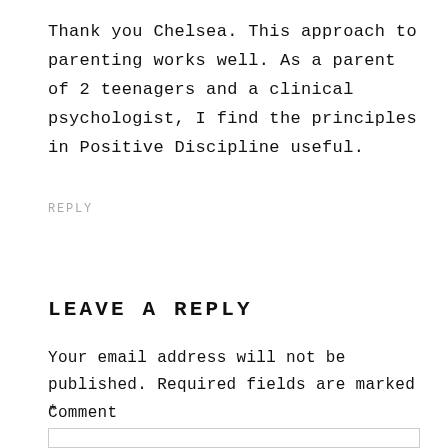Thank you Chelsea. This approach to parenting works well. As a parent of 2 teenagers and a clinical psychologist, I find the principles in Positive Discipline useful.
REPLY
LEAVE A REPLY
Your email address will not be published. Required fields are marked *
Comment